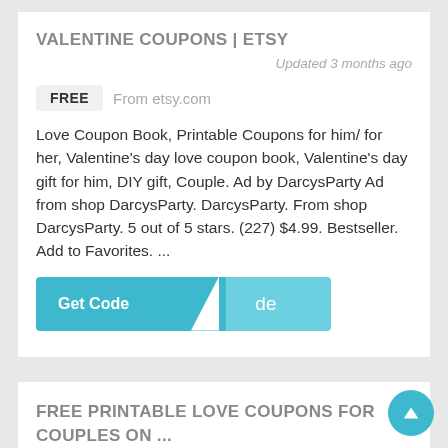VALENTINE COUPONS | ETSY
Updated 3 months ago
FREE  From etsy.com
Love Coupon Book, Printable Coupons for him/ for her, Valentine's day love coupon book, Valentine's day gift for him, DIY gift, Couple. Ad by DarcysParty Ad from shop DarcysParty. DarcysParty. From shop DarcysParty. 5 out of 5 stars. (227) $4.99. Bestseller. Add to Favorites. ...
[Figure (screenshot): Get Code button in teal/cyan color with partial coupon code revealed]
FREE PRINTABLE LOVE COUPONS FOR COUPLES ON ...